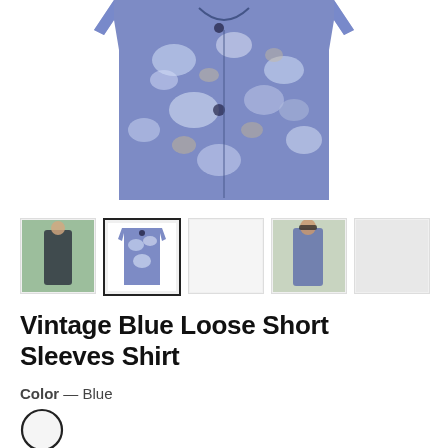[Figure (photo): Main product photo of a vintage blue loose short sleeves shirt with abstract print pattern, shown from front, floating on white background]
[Figure (photo): Row of 5 thumbnail images of the shirt: person wearing it open, front flat lay (selected), blank/light placeholder, person wearing it side view, light gray placeholder]
Vintage Blue Loose Short Sleeves Shirt
Color — Blue
[Figure (illustration): White/light gray circle color swatch with black border representing the Blue color option]